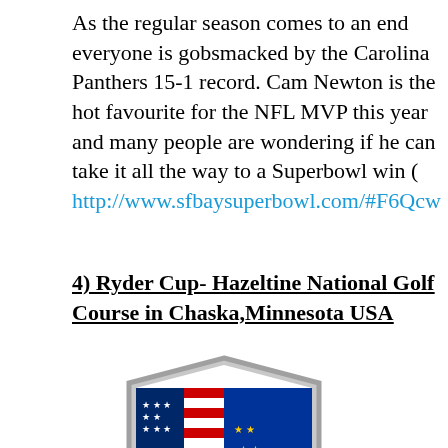As the regular season comes to an end everyone is gobsmacked by the Carolina Panthers 15-1 record. Cam Newton is the hot favourite for the NFL MVP this year and many people are wondering if he can take it all the way to a Superbowl win ( http://www.sfbaysuperbowl.com/#F6Qcw
4) Ryder Cup- Hazeltine National Golf Course in Chaska,Minnesota USA
[Figure (logo): Ryder Cup logo: a shield shape with silver border, featuring the American flag on the left side and EU blue with gold stars on the right side, with a golden Ryder Cup trophy in the center]